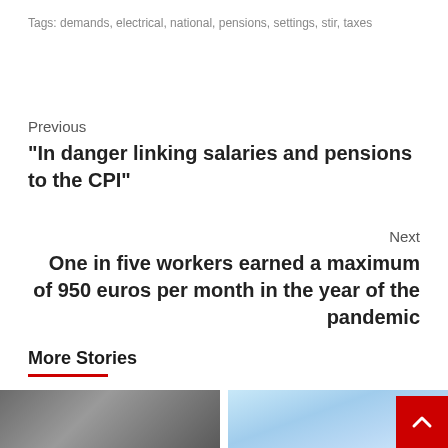Tags: demands, electrical, national, pensions, settings, stir, taxes
Previous
“In danger linking salaries and pensions to the CPI”
Next
One in five workers earned a maximum of 950 euros per month in the year of the pandemic
More Stories
[Figure (photo): Building facade with colorful panels and antennas]
[Figure (photo): Blue sky with clouds]